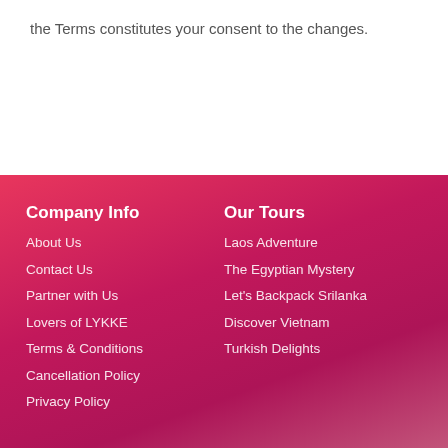the Terms constitutes your consent to the changes.
Company Info
About Us
Contact Us
Partner with Us
Lovers of LYKKE
Terms & Conditions
Cancellation Policy
Privacy Policy
Our Tours
Laos Adventure
The Egyptian Mystery
Let's Backpack Srilanka
Discover Vietnam
Turkish Delights